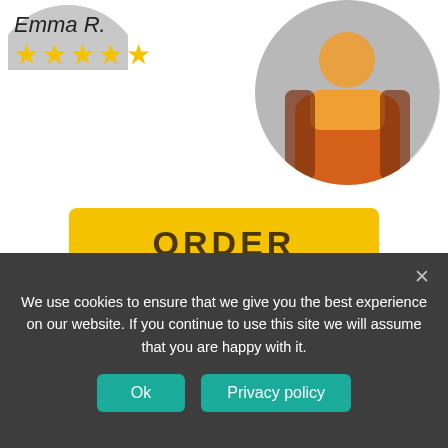[Figure (photo): Circular profile photo of a person wearing an orange shirt and patterned jacket, top-right area]
Emma R.
★★★★★
ORDER
Professional Homework Help
Categories
We use cookies to ensure that we give you the best experience on our website. If you continue to use this site we will assume that you are happy with it.
Ok
Privacy policy